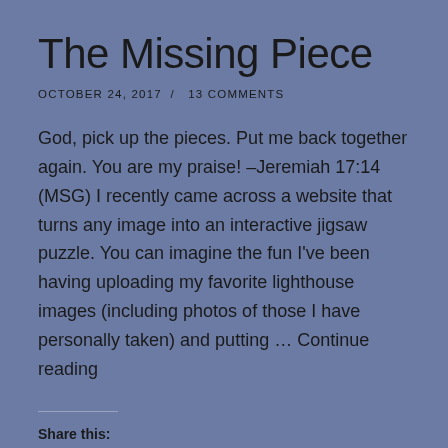The Missing Piece
OCTOBER 24, 2017  /  13 COMMENTS
God, pick up the pieces. Put me back together again. You are my praise! –Jeremiah 17:14 (MSG) I recently came across a website that turns any image into an interactive jigsaw puzzle. You can imagine the fun I've been having uploading my favorite lighthouse images (including photos of those I have personally taken) and putting … Continue reading
Share this:
Tweet  Share 24  Parler  MeWe
Loading...